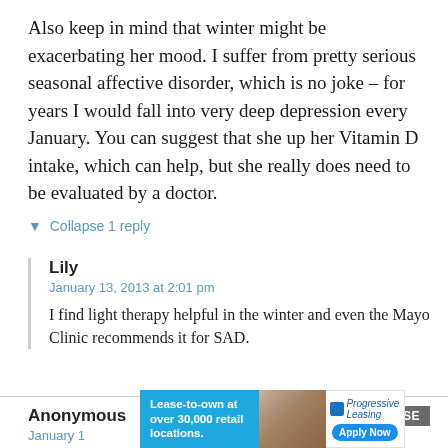Also keep in mind that winter might be exacerbating her mood. I suffer from pretty serious seasonal affective disorder, which is no joke – for years I would fall into very deep depression every January. You can suggest that she up her Vitamin D intake, which can help, but she really does need to be evaluated by a doctor.
▼ Collapse 1 reply
Lily
January 13, 2013 at 2:01 pm
I find light therapy helpful in the winter and even the Mayo Clinic recommends it for SAD.
Anonymous
January 1
[Figure (infographic): Advertisement overlay: Lease-to-own at over 30,000 retail locations with Progressive Leasing Apply Now button]
I'm a h... vord